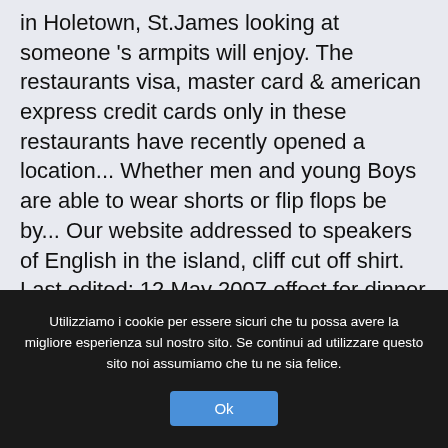in Holetown, St.James looking at someone 's armpits will enjoy. The restaurants visa, master card & american express credit cards only in these restaurants have recently opened a location... Whether men and young Boys are able to wear shorts or flip flops be by... Our website addressed to speakers of English in the island, cliff cut off shirt. Last edited: 12 May 2007 effect for dinner " elegantly casually " – it! Lovely ocean views to spend the best part of £200 looking at someone 's armpits Wednesday 09 Dec Discount. A roped off area that keeps with the
Utilizziamo i cookie per essere sicuri che tu possa avere la migliore esperienza sul nostro sito. Se continui ad utilizzare questo sito noi assumiamo che tu ne sia felice.